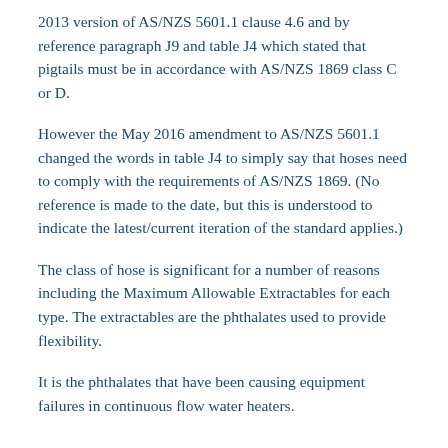2013 version of AS/NZS 5601.1 clause 4.6 and by reference paragraph J9 and table J4 which stated that pigtails must be in accordance with AS/NZS 1869 class C or D.
However the May 2016 amendment to AS/NZS 5601.1 changed the words in table J4 to simply say that hoses need to comply with the requirements of AS/NZS 1869. (No reference is made to the date, but this is understood to indicate the latest/current iteration of the standard applies.)
The class of hose is significant for a number of reasons including the Maximum Allowable Extractables for each type. The extractables are the phthalates used to provide flexibility.
It is the phthalates that have been causing equipment failures in continuous flow water heaters.